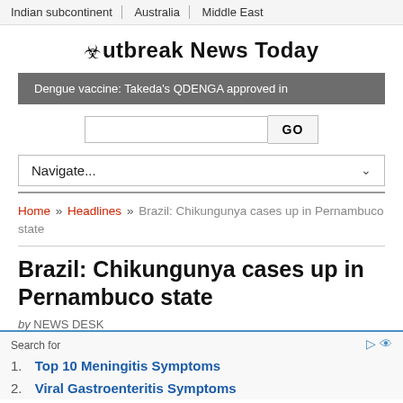Indian subcontinent | Australia | Middle East
Outbreak News Today
Dengue vaccine: Takeda's QDENGA approved in
Navigate...
Home » Headlines » Brazil: Chikungunya cases up in Pernambuco state
Brazil: Chikungunya cases up in Pernambuco state
by NEWS DESK
Search for
1. Top 10 Meningitis Symptoms
2. Viral Gastroenteritis Symptoms